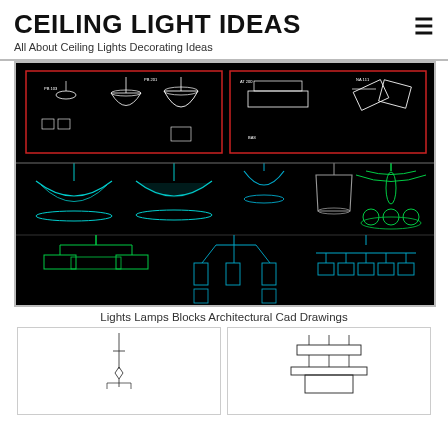CEILING LIGHT IDEAS
All About Ceiling Lights Decorating Ideas
[Figure (engineering-diagram): CAD drawing of various ceiling light and lamp blocks on black background. Top section shows technical elevation drawings of pendant lamps with red border callouts. Middle section shows cyan/teal colored pendant lamp elevation views. Bottom section shows green colored chandelier and pendant lamp elevation views.]
Lights Lamps Blocks Architectural Cad Drawings
[Figure (engineering-diagram): Small CAD line drawing of a pendant light fixture, front elevation view on white background.]
[Figure (engineering-diagram): Small CAD line drawing of a multi-arm ceiling lamp fixture, front elevation view on white background.]